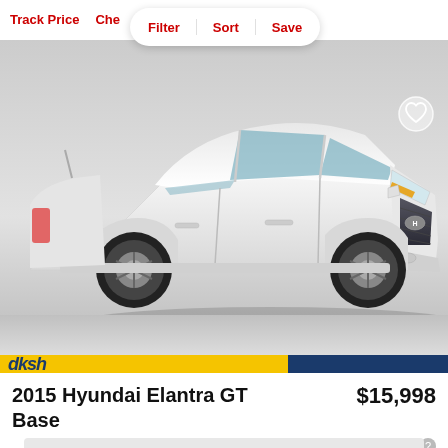Track Price  Che  Filter  Sort  Save
[Figure (photo): White 2015 Hyundai Elantra GT Base photographed from front-left angle on a light gray studio background]
2015 Hyundai Elantra GT Base
$15,998
est. $231/mo